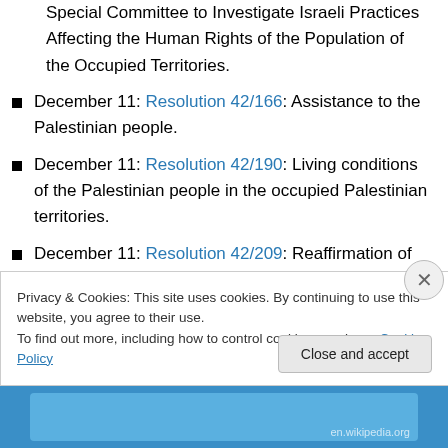Special Committee to Investigate Israeli Practices Affecting the Human Rights of the Population of the Occupied Territories.
December 11: Resolution 42/166: Assistance to the Palestinian people.
December 11: Resolution 42/190: Living conditions of the Palestinian people in the occupied Palestinian territories.
December 11: Resolution 42/209: Reaffirmation of resolution 38/180 condemning Israel and calling all nations to cut ties with it.
Privacy & Cookies: This site uses cookies. By continuing to use this website, you agree to their use. To find out more, including how to control cookies, see here: Cookie Policy
Close and accept